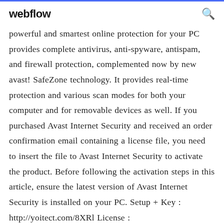webflow
powerful and smartest online protection for your PC provides complete antivirus, anti-spyware, antispam, and firewall protection, complemented now by new avast! SafeZone technology. It provides real-time protection and various scan modes for both your computer and for removable devices as well. If you purchased Avast Internet Security and received an order confirmation email containing a license file, you need to insert the file to Avast Internet Security to activate the product. Before following the activation steps in this article, ensure the latest version of Avast Internet Security is installed on your PC. Setup + Key : http://yoitect.com/8XRl License :